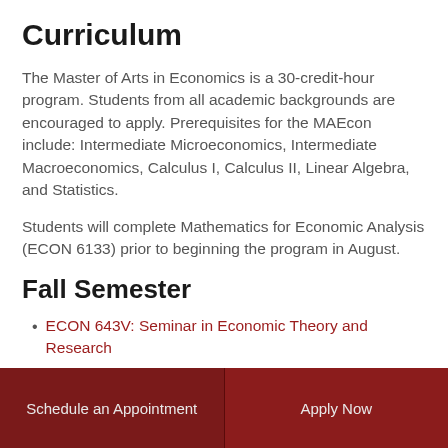Curriculum
The Master of Arts in Economics is a 30-credit-hour program. Students from all academic backgrounds are encouraged to apply. Prerequisites for the MAEcon include: Intermediate Microeconomics, Intermediate Macroeconomics, Calculus I, Calculus II, Linear Algebra, and Statistics.
Students will complete Mathematics for Economic Analysis (ECON 6133) prior to beginning the program in August.
Fall Semester
ECON 643V: Seminar in Economic Theory and Research
ECON 6213:  Microeconomic Theory I
ECON 6313: Macroeconomic Theory I
Schedule an Appointment    Apply Now